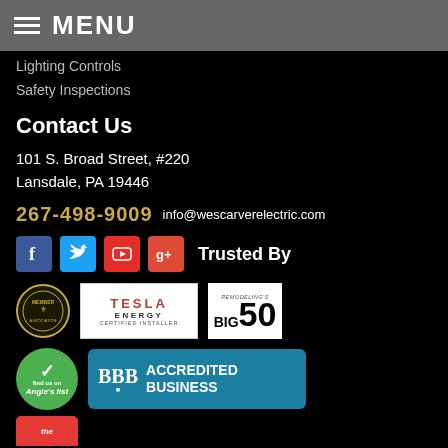MENU
Lighting Controls
Safety Inspections
Contact Us
101 S. Broad Street, #220
Lansdale, PA 19446
267-498-9009  info@wescarverelectric.com
[Figure (logo): Social media icons: Facebook, Twitter, YouTube, Google+ and 'Trusted By' text]
[Figure (logo): Trust badges row 1: Member badge, Tesla Energy Certified Installer logo, Remodeling's Big 50 logo]
[Figure (logo): Trust badges row 2: Angie's List badge (green circle), BBB Accredited Business badge (teal)]
[Figure (logo): Partial red badge at bottom (cut off)]